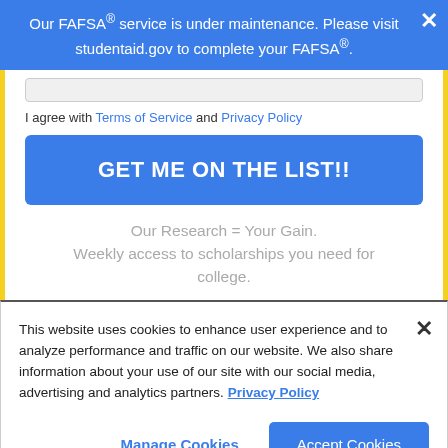Our FAFSA® service is under maintenance. Please visit studentaid.gov to complete your FAFSA®.
I agree with Terms of Service and Privacy Policy
GET ME ON THE LIST!!
Our Research = Your Gain. Weekly access to scholarships you need for college.
This website uses cookies to enhance user experience and to analyze performance and traffic on our website. We also share information about your use of our site with our social media, advertising and analytics partners. Privacy Policy
Manage Cookies
Accept Cookies